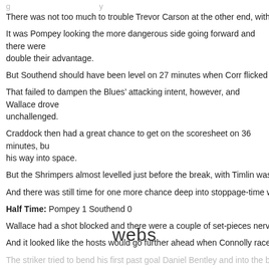There was not too much to trouble Trevor Carson at the other end, with the kee
It was Pompey looking the more dangerous side going forward and there were double their advantage.
But Southend should have been level on 27 minutes when Corr flicked on a co
That failed to dampen the Blues’ attacking intent, however, and Wallace drove unchallenged.
Craddock then had a great chance to get on the scoresheet on 36 minutes, but his way into space.
But the Shrimpers almost levelled just before the break, with Timlin wastefully b
And there was still time for one more chance deep into stoppage-time when Wa
Half Time: Pompey 1 Southend 0
Wallace had a shot blocked and there were a couple of set-pieces nervously cl
And it looked like the hosts would go further ahead when Connolly raced onto D
The striker tried to bend his first past goal Daniel Bentley and into the bottom
[Figure (logo): webs logo in dark text]
faded footer text